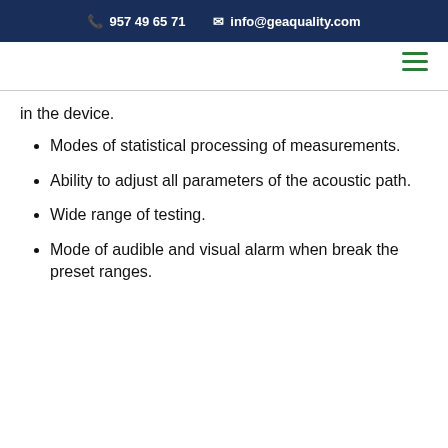957 49 65 71  info@geaquality.com
in the device.
Modes of statistical processing of measurements.
Ability to adjust all parameters of the acoustic path.
Wide range of testing.
Mode of audible and visual alarm when break the preset ranges.